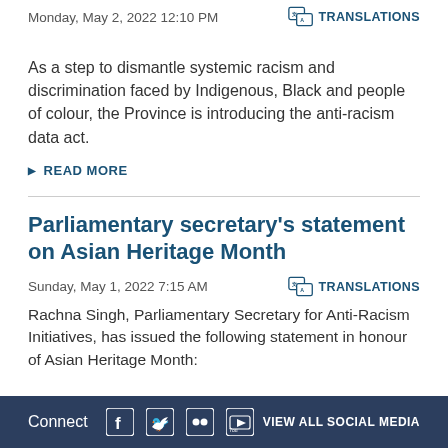Monday, May 2, 2022 12:10 PM
As a step to dismantle systemic racism and discrimination faced by Indigenous, Black and people of colour, the Province is introducing the anti-racism data act.
READ MORE
Parliamentary secretary's statement on Asian Heritage Month
Sunday, May 1, 2022 7:15 AM
Rachna Singh, Parliamentary Secretary for Anti-Racism Initiatives, has issued the following statement in honour of Asian Heritage Month:
Connect   VIEW ALL SOCIAL MEDIA